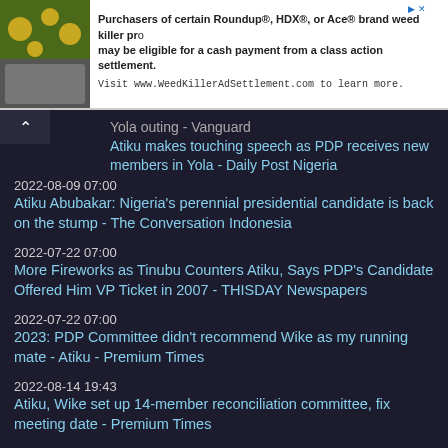[Figure (screenshot): Advertisement banner with plant photo on left and text about Roundup weed killer class action settlement]
Yola outing - Vanguard
Atiku makes touching speech as PDP receives new members in Yola - Daily Post Nigeria
2022-08-09 07:00
Atiku Abubakar: Nigeria's perennial presidential candidate is back on the stump - The Conversation Indonesia
2022-07-22 07:00
More Fireworks as Tinubu Counters Atiku, Says PDP's Candidate Offered Him VP Ticket in 2007 - THISDAY Newspapers
2022-07-22 07:00
2023: PDP Committee didn't recommend Wike as my running mate - Atiku - Premium Times
2022-08-14 19:43
Atiku, Wike set up 14-member reconciliation committee, fix meeting date - Premium Times
2022-08-17 12:28
6 WEEKS AFTER RUNNING MATE DISCORD IN PDP: Atiku, Wike Finally Meet To Resolve Lingering Crisis